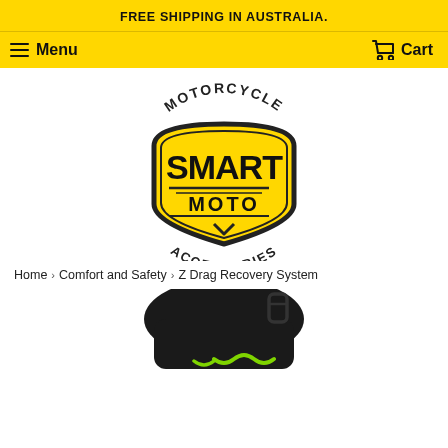FREE SHIPPING IN AUSTRALIA.
Menu   Cart
[Figure (logo): Smart Moto Motorcycle Accessories logo — yellow shield badge with 'SMART MOTO' in bold black text, 'MOTORCYCLE' arched above and 'ACCESSORIES' arched below]
Home › Comfort and Safety › Z Drag Recovery System
[Figure (photo): Partial product photo of Z Drag Recovery System — black bag/pouch with green rope or cord visible at the bottom of the page]